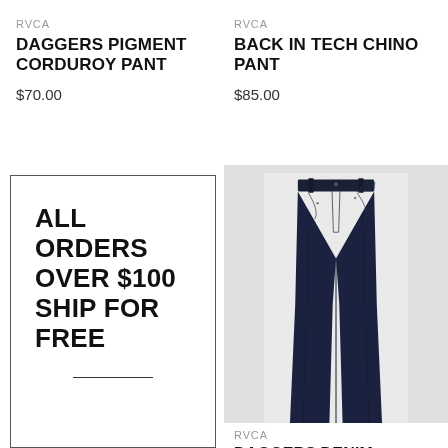RVCA
DAGGERS PIGMENT CORDUROY PANT
$70.00
RVCA
BACK IN TECH CHINO PANT
$85.00
ALL ORDERS OVER $100 SHIP FOR FREE
[Figure (photo): Dark navy blue slim-fit denim jeans displayed on white/light grey background]
RVCA
DAGGERS DENIM